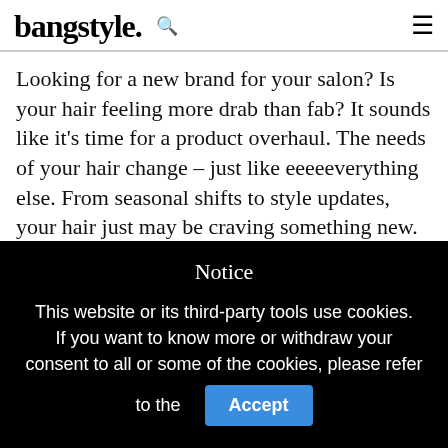bangstyle.
Looking for a new brand for your salon? Is your hair feeling more drab than fab? It sounds like it's time for a product overhaul. The needs of your hair change – just like eeeeeverything else. From seasonal shifts to style updates, your hair just may be craving something new. See the products making the way to the top of our must-haves list.
Notice
This website or its third-party tools use cookies. If you want to know more or withdraw your consent to all or some of the cookies, please refer to the
Accept